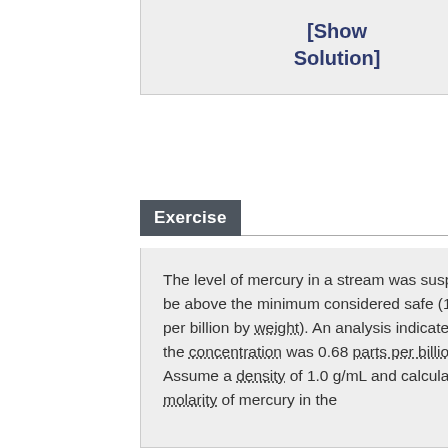[Show Solution]
Exercise
The level of mercury in a stream was suspected to be above the minimum considered safe (1 part per billion by weight). An analysis indicated that the concentration was 0.68 parts per billion. Assume a density of 1.0 g/mL and calculate the molarity of mercury in the